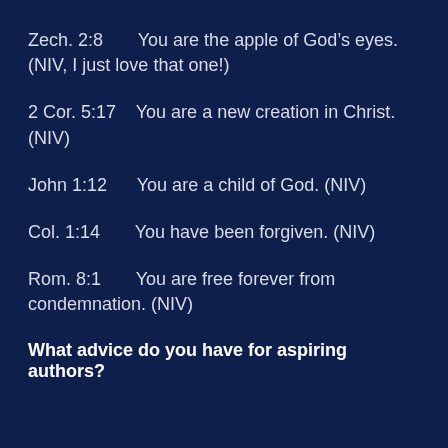Zech. 2:8       You are the apple of God’s eyes. (NIV, I just love that one!)
2 Cor. 5:17    You are a new creation in Christ. (NIV)
John 1:12      You are a child of God. (NIV)
Col. 1:14       You have been forgiven. (NIV)
Rom. 8:1       You are free forever from condemnation. (NIV)
What advice do you have for aspiring authors?